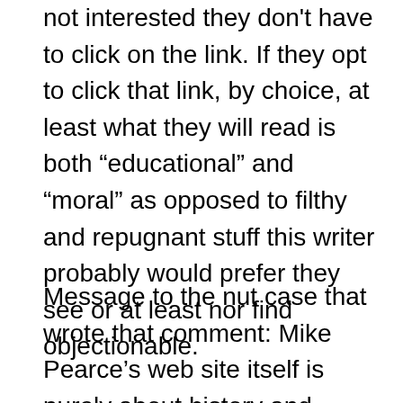not interested they don't have to click on the link. If they opt to click that link, by choice, at least what they will read is both “educational” and “moral” as opposed to filthy and repugnant stuff this writer probably would prefer they see or at least nor find objectionable.
Message to the nut case that wrote that comment: Mike Pearce’s web site itself is purely about history and